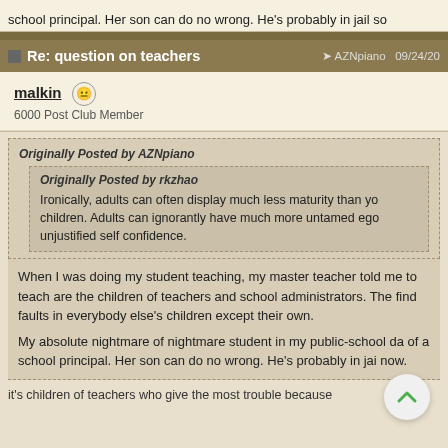school principal. Her son can do no wrong. He's probably in jail so
Re: question on teachers  ➤ AZNpiano  09/24/20
malkin  😐
6000 Post Club Member
Originally Posted by AZNpiano
Originally Posted by rkzhao
Ironically, adults can often display much less maturity than yo children. Adults can ignorantly have much more untamed ego unjustified self confidence.
When I was doing my student teaching, my master teacher told me to teach are the children of teachers and school administrators. The find faults in everybody else's children except their own.
My absolute nightmare of nightmare student in my public-school da of a school principal. Her son can do no wrong. He's probably in jai now.
it's children of teachers who give the most trouble because